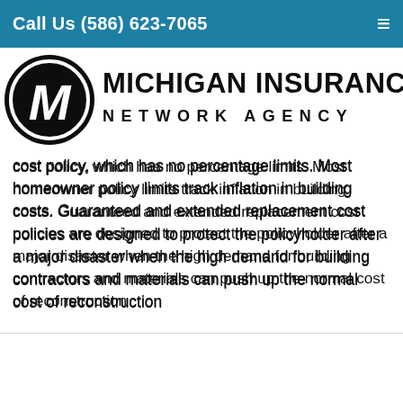Call Us (586) 623-7065
[Figure (logo): Michigan Insurance Network Agency logo with circular M emblem]
cost policy, which has no percentage limits. Most homeowner policy limits track inflation in building costs. Guaranteed and extended replacement cost policies are designed to protect the policyholder after a major disaster when the high demand for building contractors and materials can push up the normal cost of reconstruction
NOTICE: These glossary definitions provide a brief description of the terms and phrases used within the insurance industry. These